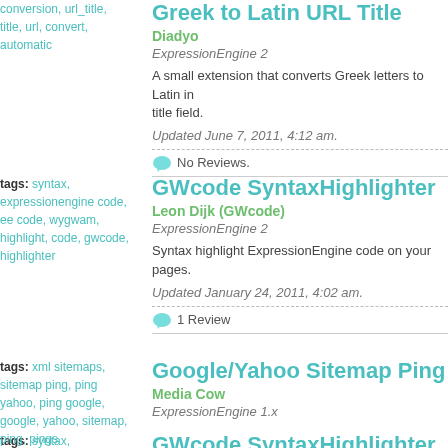conversion, url_title, title, url, convert, automatic
Greek to Latin URL Title
Diadyo
ExpressionEngine 2
A small extension that converts Greek letters to Latin in title field.
Updated June 7, 2011, 4:12 am.
No Reviews.
tags: syntax, expressionengine code, ee code, wygwam, highlight, code, gwcode, highlighter
GWcode SyntaxHighlighter
Leon Dijk (GWcode)
ExpressionEngine 2
Syntax highlight ExpressionEngine code on your pages.
Updated January 24, 2011, 4:02 am.
1 Review
tags: xml sitemaps, sitemap ping, ping yahoo, ping google, google, yahoo, sitemap, ping, pings
Google/Yahoo Sitemap Ping
Media Cow
ExpressionEngine 1.x